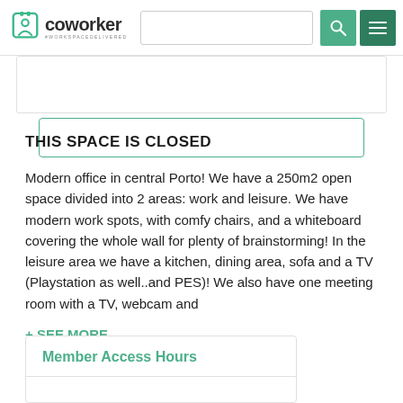coworker #WORKSPACEDELIVERED
THIS SPACE IS CLOSED
Modern office in central Porto! We have a 250m2 open space divided into 2 areas: work and leisure. We have modern work spots, with comfy chairs, and a whiteboard covering the whole wall for plenty of brainstorming! In the leisure area we have a kitchen, dining area, sofa and a TV (Playstation as well..and PES)! We also have one meeting room with a TV, webcam and
+ SEE MORE
Member Access Hours